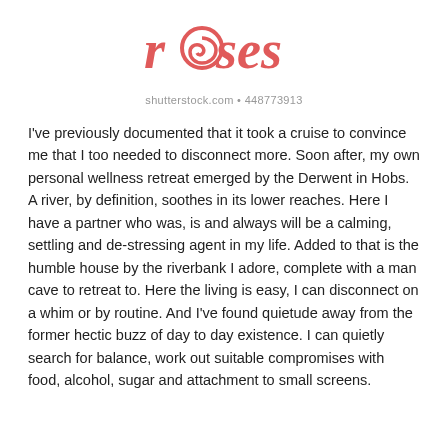[Figure (logo): Decorative cursive logo reading 'roses' in coral/red color with a swirl replacing the 'o']
shutterstock.com • 448773913
I've previously documented that it took a cruise to convince me that I too needed to disconnect more. Soon after, my own personal wellness retreat emerged by the Derwent in Hobs. A river, by definition, soothes in its lower reaches. Here I have a partner who was, is and always will be a calming, settling and de-stressing agent in my life. Added to that is the humble house by the riverbank I adore, complete with a man cave to retreat to. Here the living is easy, I can disconnect on a whim or by routine. And I've found quietude away from the former hectic buzz of day to day existence. I can quietly search for balance, work out suitable compromises with food, alcohol, sugar and attachment to small screens.